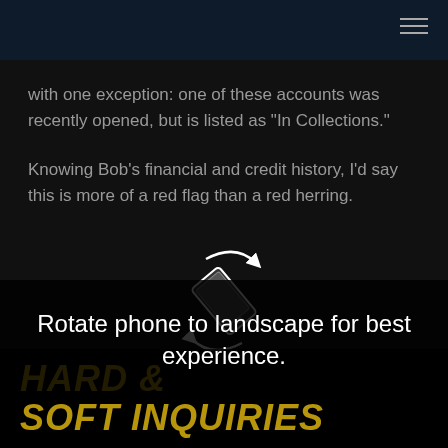with one exception: one of these accounts was recently opened, but is listed as "In Collections."
Knowing Bob's financial and credit history, I'd say this is more of a red flag than a red herring.
[Figure (illustration): Icon of a smartphone rotated diagonally with curved arrows indicating rotation.]
Rotate phone to landscape for best experience.
HARD & SOFT INQUIRIES